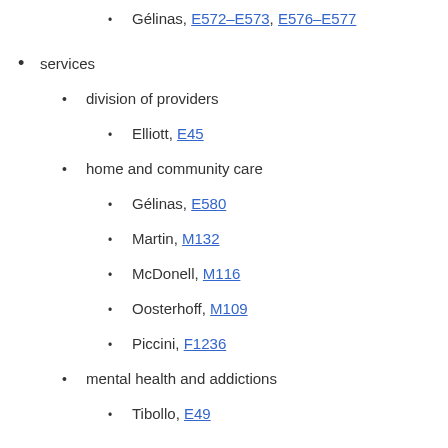Gélinas, E572–E573, E576–E577
services
division of providers
Elliott, E45
home and community care
Gélinas, E580
Martin, M132
McDonell, M116
Oosterhoff, M109
Piccini, F1236
mental health and addictions
Tibollo, E49